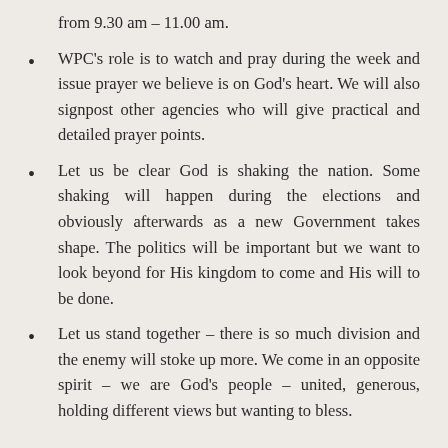from 9.30 am – 11.00 am.
WPC's role is to watch and pray during the week and issue prayer we believe is on God's heart. We will also signpost other agencies who will give practical and detailed prayer points.
Let us be clear God is shaking the nation. Some shaking will happen during the elections and obviously afterwards as a new Government takes shape. The politics will be important but we want to look beyond for His kingdom to come and His will to be done.
Let us stand together – there is so much division and the enemy will stoke up more. We come in an opposite spirit – we are God's people – united, generous, holding different views but wanting to bless.